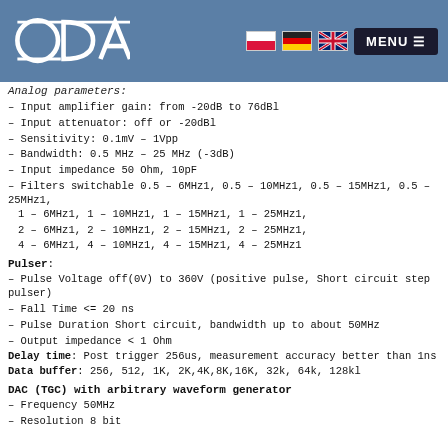ODA logo with navigation flags and MENU button
Analog parameters:
– Input amplifier gain: from -20dB to 76dBl
– Input attenuator: off or -20dBl
– Sensitivity: 0.1mV - 1Vpp
– Bandwidth: 0.5 MHz - 25 MHz (-3dB)
– Input impedance 50 Ohm, 10pF
– Filters switchable 0.5 – 6MHz1, 0.5 – 10MHz1, 0.5 – 15MHz1, 0.5 – 25MHz1, 1 – 6MHz1, 1 – 10MHz1, 1 – 15MHz1, 1 – 25MHz1, 2 – 6MHz1, 2 – 10MHz1, 2 – 15MHz1, 2 – 25MHz1, 4 – 6MHz1, 4 – 10MHz1, 4 – 15MHz1, 4 – 25MHz1
Pulser:
– Pulse Voltage off(0V) to 360V (positive pulse, Short circuit step pulser)
– Fall Time <= 20 ns
– Pulse Duration Short circuit, bandwidth up to about 50MHz
– Output impedance < 1 Ohm
Delay time: Post trigger 256us, measurement accuracy better than 1ns
Data buffer: 256, 512, 1K, 2K,4K,8K,16K, 32k, 64k, 128kl
DAC (TGC) with arbitrary waveform generator
– Frequency 50MHz
– Resolution 8 bit